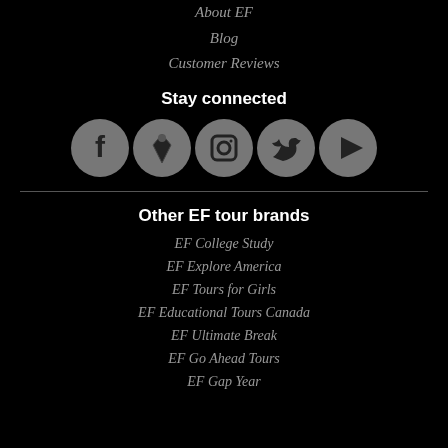About EF
Blog
Customer Reviews
Stay connected
[Figure (illustration): Five social media icons (Facebook, Pinterest/pen, Instagram, Twitter, YouTube) as gray circles with dark symbols]
Other EF tour brands
EF College Study
EF Explore America
EF Tours for Girls
EF Educational Tours Canada
EF Ultimate Break
EF Go Ahead Tours
EF Gap Year